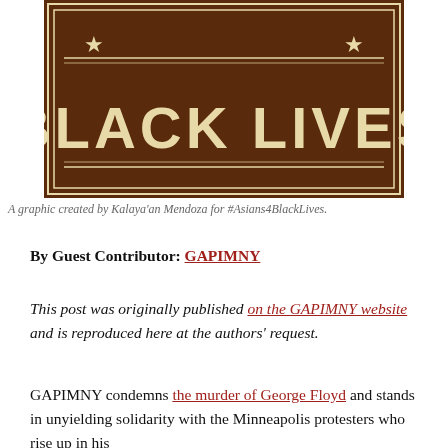[Figure (illustration): A graphic banner with dark brown background and cream text reading 'BLACK LIVES', decorated with stars and ornate border, created by Kalaya'an Mendoza for #Asians4BlackLives.]
A graphic created by Kalaya'an Mendoza for #Asians4BlackLives.
By Guest Contributor: GAPIMNY
This post was originally published on the GAPIMNY website and is reproduced here at the authors' request.
GAPIMNY condemns the murder of George Floyd and stands in unyielding solidarity with the Minneapolis protesters who rise up in his